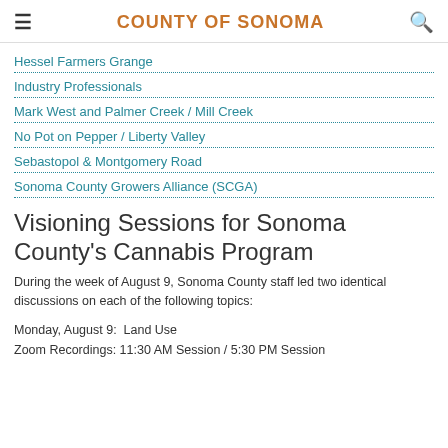COUNTY OF SONOMA
Hessel Farmers Grange
Industry Professionals
Mark West and Palmer Creek / Mill Creek
No Pot on Pepper / Liberty Valley
Sebastopol & Montgomery Road
Sonoma County Growers Alliance (SCGA)
Visioning Sessions for Sonoma County's Cannabis Program
During the week of August 9, Sonoma County staff led two identical discussions on each of the following topics:
Monday, August 9:  Land Use
Zoom Recordings: 11:30 AM Session / 5:30 PM Session